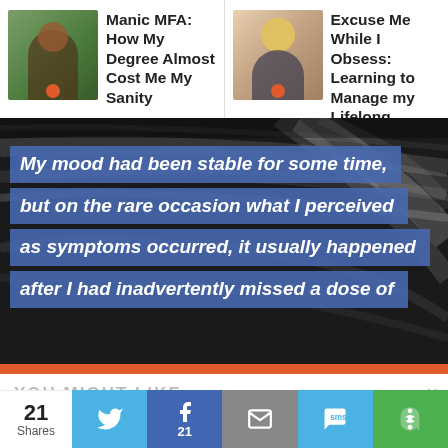Manic MFA: How My Degree Almost Cost Me My Sanity
Excuse Me While I Obsess: Learning to Manage my Lifelong...
[Figure (screenshot): Hero image with dark textured background and bold italic quote overlay: 'My mood had been stable for some time, but on the rare occasion what I perceived as symptoms occurred, it usually happened after I had inadvertently missed a dose of']
YOU MIGHT LIKE ...
[Figure (photo): Photo of a man with short hair and beard wearing a black shirt]
In Suicide: The Ripple Effect, Kevin Hines recounts the tale of his suicide attempt when he was nineteen years old, and then embarks on a journey to offer hope to others who may be struggling, and to hear...
21 Shares
21